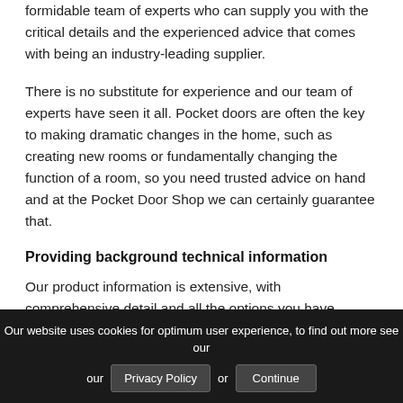formidable team of experts who can supply you with the critical details and the experienced advice that comes with being an industry-leading supplier.
There is no substitute for experience and our team of experts have seen it all. Pocket doors are often the key to making dramatic changes in the home, such as creating new rooms or fundamentally changing the function of a room, so you need trusted advice on hand and at the Pocket Door Shop we can certainly guarantee that.
Providing background technical information
Our product information is extensive, with comprehensive detail and all the options you have available. This is what you would expect from any
Our website uses cookies for optimum user experience, to find out more see our Privacy Policy or Continue